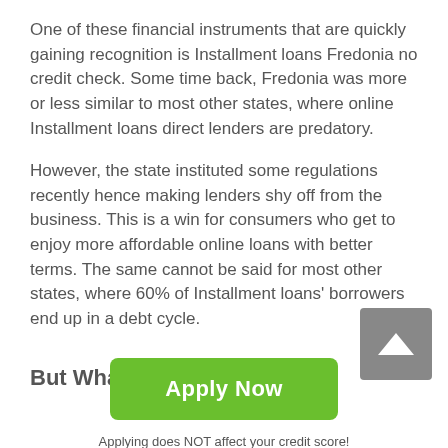One of these financial instruments that are quickly gaining recognition is Installment loans Fredonia no credit check. Some time back, Fredonia was more or less similar to most other states, where online Installment loans direct lenders are predatory.
However, the state instituted some regulations recently hence making lenders shy off from the business. This is a win for consumers who get to enjoy more affordable online loans with better terms. The same cannot be said for most other states, where 60% of Installment loans' borrowers end up in a debt cycle.
But What Exactly are Online
[Figure (other): Gray square button with white upward arrow icon]
Apply Now
Applying does NOT affect your credit score! No credit check to apply.